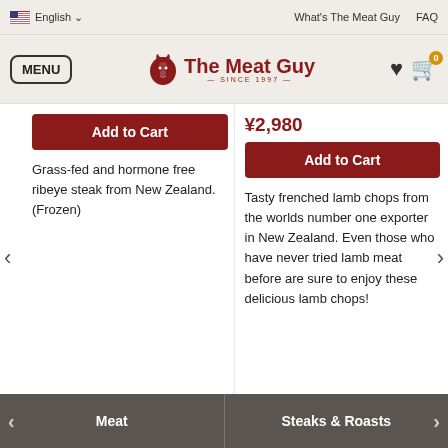English | What's The Meat Guy | FAQ
[Figure (logo): The Meat Guy logo with cow head icon, SINCE 1997]
¥2,980
Add to Cart
Add to Cart
Grass-fed and hormone free ribeye steak from New Zealand. (Frozen)
Tasty frenched lamb chops from the worlds number one exporter in New Zealand. Even those who have never tried lamb meat before are sure to enjoy these delicious lamb chops!
Meat | Steaks & Roasts